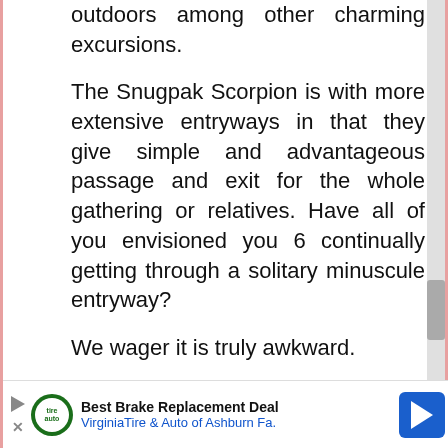outdoors among other charming excursions.
The Snugpak Scorpion is with more extensive entryways in that they give simple and advantageous passage and exit for the whole gathering or relatives. Have all of you envisioned you 6 continually getting through a solitary minuscule entryway?
We wager it is truly awkward.
[Figure (other): Advertisement bar: Best Brake Replacement Deal - VirginiaTire & Auto of Ashburn Fa.]